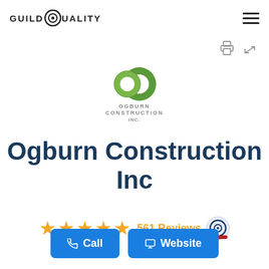GUILDQUALITY
[Figure (logo): Ogburn Construction Inc logo — stylized OC letters in green with leaf motif, company name below]
Ogburn Construction Inc
★★★★★ 561 Reviews
Call  Website